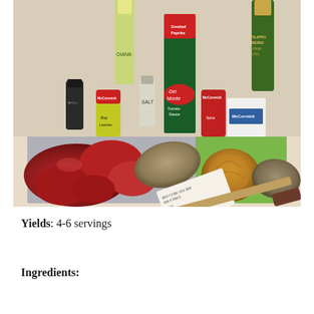[Figure (photo): Overhead photo of beef stew ingredients on a kitchen counter: raw beef chunks in a tray, potatoes, an onion, spice jars (McCormick Bay Leaves, Smoked Paprika, another McCormick jar), salt shaker, Del Monte Tomato Sauce can, two olive oil bottles (Oiana and Filippo Berio Extra Virgin Olive Oil), a small white box, a meat price label, and a serrated knife on a green cutting board.]
Yields: 4-6 servings
Ingredients: